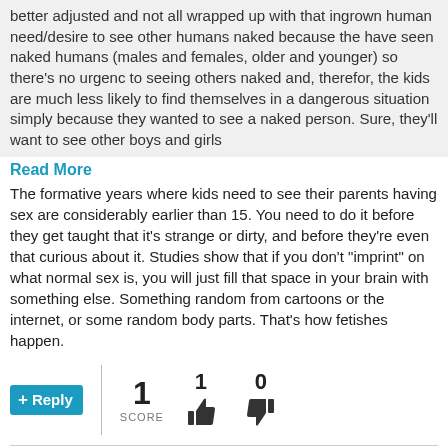better adjusted and not all wrapped up with that ingrown human need/desire to see other humans naked because the have seen naked humans (males and females, older and younger) so there's no urgency to seeing others naked and, therefor, the kids are much less likely to find themselves in a dangerous situation simply because they wanted to see a naked person. Sure, they'll want to see other boys and girls
Read More
The formative years where kids need to see their parents having sex are considerably earlier than 15. You need to do it before they get taught that it's strange or dirty, and before they're even that curious about it. Studies show that if you don't "imprint" on what normal sex is, you will just fill that space in your brain with something else. Something random from cartoons or the internet, or some random body parts. That's how fetishes happen.
Reply | 1 SCORE | 1 thumbs up | 0 thumbs down
Commented Mar 26, 2022 02:51 by